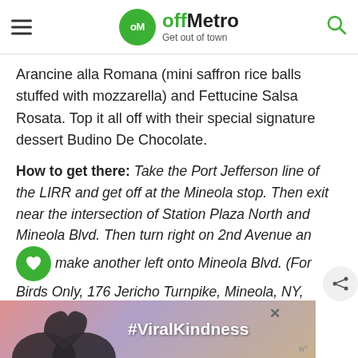offMetro — Get out of town
Arancine alla Romana (mini saffron rice balls stuffed with mozzarella) and Fettucine Salsa Rosata. Top it all off with their special signature dessert Budino De Chocolate.
How to get there: Take the Port Jefferson line of the LIRR and get off at the Mineola stop. Then exit near the intersection of Station Plaza North and Mineola Blvd. Then turn right on 2nd Avenue and make another left onto Mineola Blvd. (For Birds Only, 176 Jericho Turnpike, Mineola, NY, 516.746.3630, forbirdsonlyny.com)
[Figure (photo): Advertisement banner showing hands forming a heart shape against a sunset sky, with the text #ViralKindness]